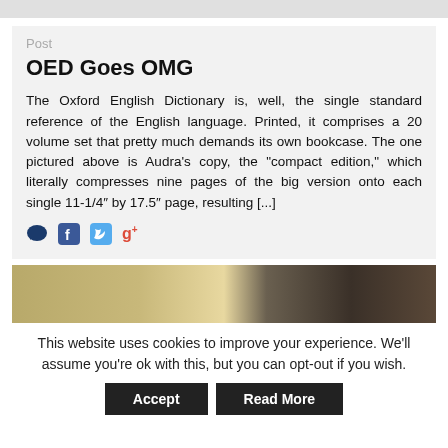Post
OED Goes OMG
The Oxford English Dictionary is, well, the single standard reference of the English language. Printed, it comprises a 20 volume set that pretty much demands its own bookcase. The one pictured above is Audra’s copy, the “compact edition,” which literally compresses nine pages of the big version onto each single 11-1/4″ by 17.5″ page, resulting [...]
[Figure (illustration): Social media share icons: comment bubble (dark blue), Facebook (blue), Twitter (blue bird), Google+ (red text with plus superscript)]
[Figure (photo): Partial photo of books or documents on a surface, showing a blurred warm-toned image.]
This website uses cookies to improve your experience. We'll assume you're ok with this, but you can opt-out if you wish.